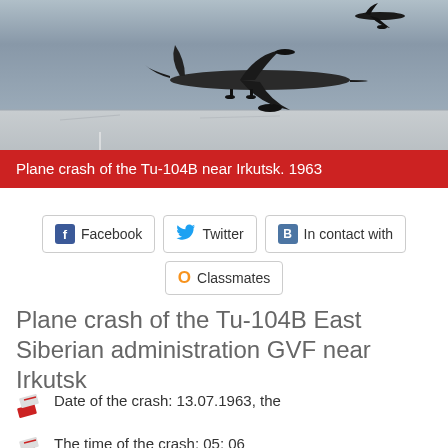[Figure (photo): Black and white photo of an aircraft (Tu-104B) on a runway or airfield, viewed from the side, with a grey sky background.]
Plane crash of the Tu-104B near Irkutsk. 1963
Facebook  Twitter  In contact with  Classmates
Plane crash of the Tu-104B East Siberian administration GVF near Irkutsk
Date of the crash: 13.07.1963, the
The time of the crash: 05: 06
Country of the crash: the USSR